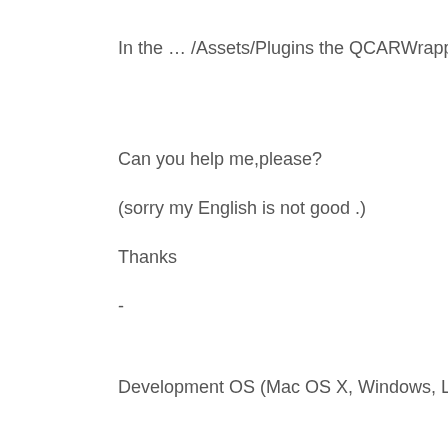In the … /Assets/Plugins the QCARWrapper.dll file is p
Can you help me,please?
(sorry my English is not good .)
Thanks
-
Development OS (Mac OS X, Windows, Linux): Windov
Mobile OS and Version: Android 2.3.6 -
Mobile Device Manufacturer and Model name: Samsu
-
Do the Vuforia Sample Applications show the same b